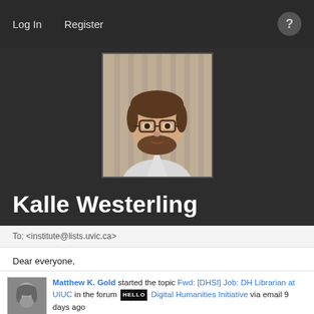Log In   Register
[Figure (photo): Profile photo of Kalle Westerling, a man with glasses and a beard, shown from shoulders up against a light background]
Kalle Westerling
To: <institute@lists.uvic.ca>
Dear everyone,
The Brown University Library is looking to hire two new DH staff to teach in support of our newly created DH... [Read more]
Matthew K. Gold started the topic Fwd: [DHSI] Job: DH Librarian at UIUC in the forum Digital Humanities Initiative via email 9 days ago